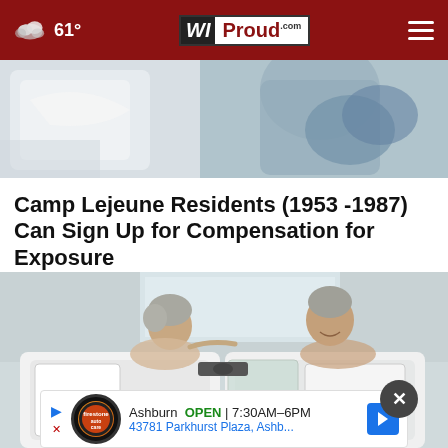61° WIProud.com
[Figure (photo): Close-up photo showing hands/towels, medical or healthcare context, blue and white tones]
Camp Lejeune Residents (1953 -1987) Can Sign Up for Compensation for Exposure
Consumer Coalition
[Figure (photo): Elderly couple sitting in adjacent walk-in bathtubs, smiling at each other in a white-tiled bathroom]
[Figure (infographic): Advertisement banner: Firestone Auto Care - Ashburn OPEN 7:30AM-6PM, 43781 Parkhurst Plaza, Ashb...]